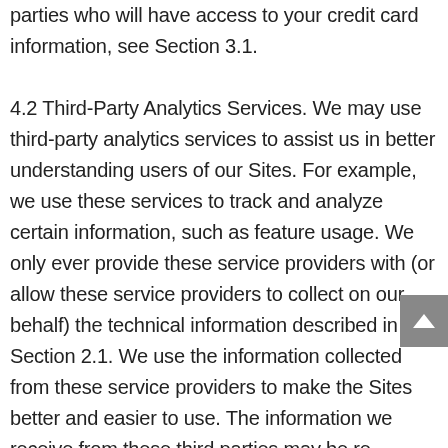parties who will have access to your credit card information, see Section 3.1.
4.2 Third-Party Analytics Services. We may use third-party analytics services to assist us in better understanding users of our Sites. For example, we use these services to track and analyze certain information, such as feature usage. We only ever provide these service providers with (or allow these service providers to collect on our behalf) the technical information described in Section 2.1. We use the information collected from these service providers to make the Sites better and easier to use. The information we receive from these third parties may be re-associated with your Personal Information after we receive it, but...